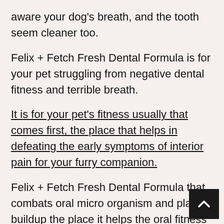aware your dog's breath, and the tooth seem cleaner too.
Felix + Fetch Fresh Dental Formula is for your pet struggling from negative dental fitness and terrible breath.
It is for your pet's fitness usually that comes first, the place that helps in defeating the early symptoms of interior pain for your furry companion.
Felix + Fetch Fresh Dental Formula that combats oral micro organism and plaque buildup the place it helps the oral fitness of puppies and cats.
This liquid solution is ideally intended to support health that helps break down toxic plaque and eliminate sources of bacteria.